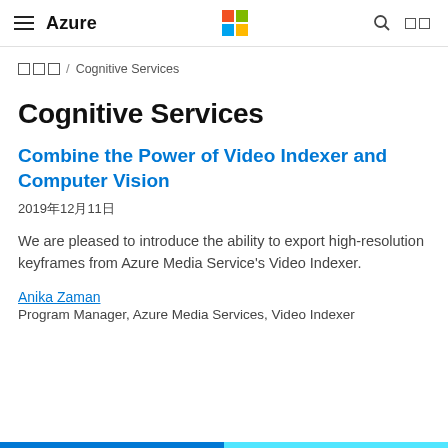Azure (Microsoft logo) search grid
□□□ / Cognitive Services
Cognitive Services
Combine the Power of Video Indexer and Computer Vision
2019年12月11日
We are pleased to introduce the ability to export high-resolution keyframes from Azure Media Service's Video Indexer.
Anika Zaman
Program Manager, Azure Media Services, Video Indexer